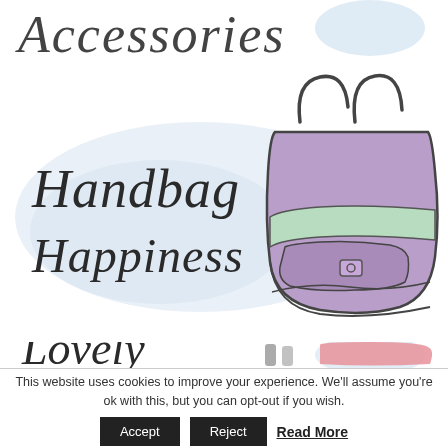[Figure (illustration): Partial view of a decorative cursive/handwritten text (appears to be end of a word/title), with a light blue watercolor blob shape on the right. White background.]
[Figure (illustration): Decorative illustration showing 'Handbag Happiness' in cursive handwritten lettering on the left with light blue watercolor wash behind it, and a hand-drawn watercolor handbag (purple/lavender with mint green trim and handles) on the right side.]
[Figure (illustration): Partial view of decorative cursive text reading 'Lovely' on the left, with partial hand-drawn illustrations of cosmetics/perfume bottles and a pink clutch/wallet on the right. Light blue watercolor blob visible.]
This website uses cookies to improve your experience. We'll assume you're ok with this, but you can opt-out if you wish.
Accept  Reject  Read More